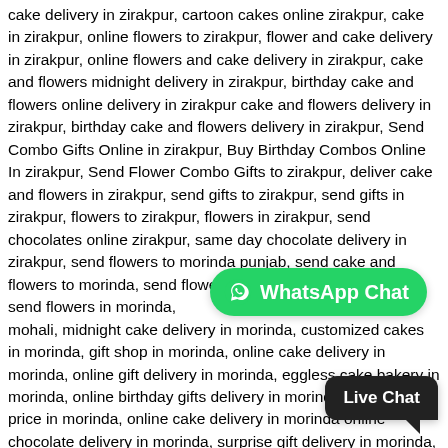cake delivery in zirakpur, cartoon cakes online zirakpur, cake in zirakpur, online flowers to zirakpur, flower and cake delivery in zirakpur, online flowers and cake delivery in zirakpur, cake and flowers midnight delivery in zirakpur, birthday cake and flowers online delivery in zirakpur cake and flowers delivery in zirakpur, birthday cake and flowers delivery in zirakpur, Send Combo Gifts Online in zirakpur, Buy Birthday Combos Online In zirakpur, Send Flower Combo Gifts to zirakpur, deliver cake and flowers in zirakpur, send gifts to zirakpur, send gifts in zirakpur, flowers to zirakpur, flowers in zirakpur, send chocolates online zirakpur, same day chocolate delivery in zirakpur, send flowers to morinda punjab, send cake and flowers to morinda, send flowers in morinda, online morinda, send flowers in morinda, online cake and flower delivery in mohali, midnight cake delivery in morinda, customized cakes in morinda, gift shop in morinda, online cake delivery in morinda, online gift delivery in morinda, eggless cake bakery in morinda, online birthday gifts delivery in morinda, photo cake price in morinda, online cake delivery in morinda online chocolate delivery in morinda, surprise gift delivery in morinda, online cake and gifts delivery in morinda, surprise gift delivery in morinda, online cake delivery in morinda, cake shop in morinda, cake shop near me, cake shop near morinda, order cake online morinda, order cake in morinda, order cake online near me, birthday cake online morinda,
[Figure (other): WhatsApp Chat button overlay — green rounded pill button with WhatsApp icon and text 'WhatsApp Chat']
[Figure (other): Live Chat button overlay — dark rounded rectangle with text 'Live Chat' and speech bubble tail]